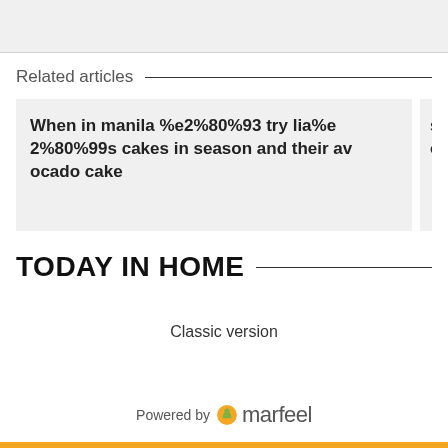[Figure (other): Gray placeholder box at top of page]
Related articles
When in manila %e2%80%93 try lia%e 2%80%99s cakes in season and their avocado cake
sm mall of asia
TODAY IN HOME
Classic version
Powered by marfeel